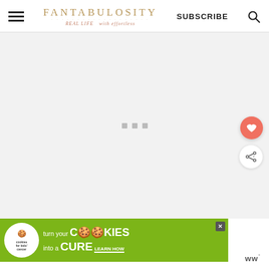FANTABULOSITY — REAL LIFE with efforless
SUBSCRIBE
[Figure (screenshot): Loading spinner / placeholder area with three grey squares on light grey background]
[Figure (illustration): Floating heart icon button (coral/salmon color)]
[Figure (illustration): Floating share icon button (white circle with share icon)]
[Figure (infographic): Cookies for Kids' Cancer advertisement banner: 'turn your COOKIES into a CURE LEARN HOW' on green background with cookie logo]
w°